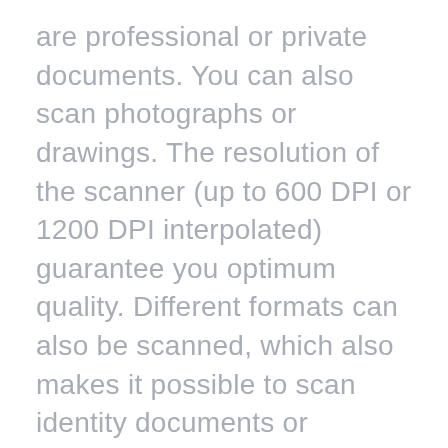are professional or private documents. You can also scan photographs or drawings. The resolution of the scanner (up to 600 DPI or 1200 DPI interpolated) guarantee you optimum quality. Different formats can also be scanned, which also makes it possible to scan identity documents or business cards. Want to scan several sheets? The IRIScan Express 4 scans pages one by one. However, thanks to the OCR Readiris 16 software included with the scanner, you can easily group your PDF scans into a single PDF if you wish. But make sure you remove the staples from the documents you scan. Otherwis